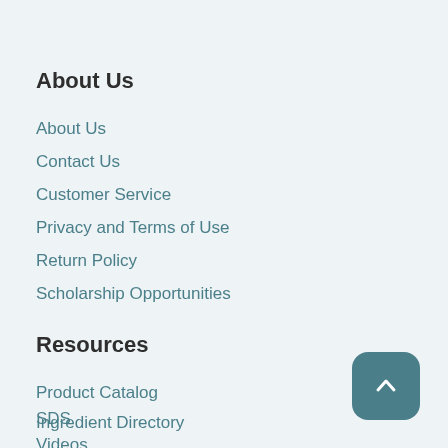About Us
About Us
Contact Us
Customer Service
Privacy and Terms of Use
Return Policy
Scholarship Opportunities
Resources
Product Catalog
Ingredient Directory
SDS
Videos